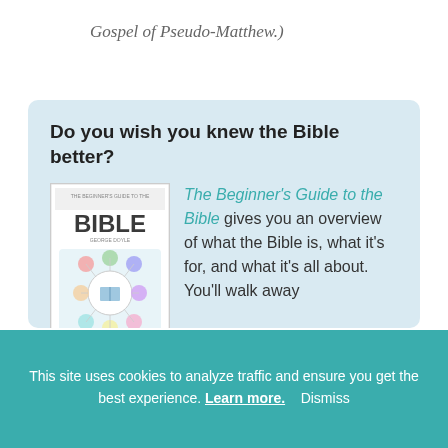Gospel of Pseudo-Matthew.)
[Figure (illustration): Promotional box with light blue background containing a book cover image for 'The Beginner's Guide to the Bible' and descriptive text about the book.]
The Beginner's Guide to the Bible gives you an overview of what the Bible is, what it's for, and what it's all about. You'll walk away from it with enough knowledge to have a thoughtful conversation about the Bible
This site uses cookies to analyze traffic and ensure you get the best experience. Learn more. Dismiss